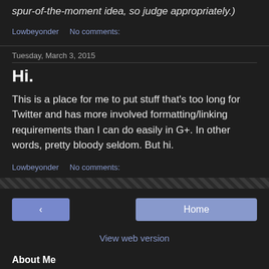spur-of-the-moment idea, so judge appropriately.)
Lowbeyonder    No comments:
Tuesday, March 3, 2015
Hi.
This is a place for me to put stuff that's too long for Twitter and has more involved formatting/linking requirements than I can do easily in G+. In other words, pretty bloody seldom. But hi.
Lowbeyonder    No comments:
< Home View web version
About Me